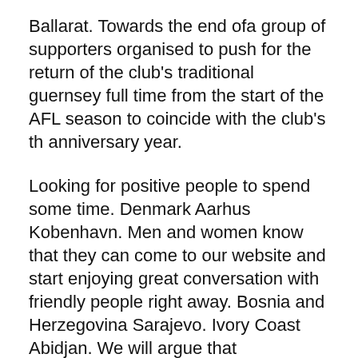Ballarat. Towards the end ofa group of supporters organised to push for the return of the club's traditional guernsey full time from the start of the AFL season to coincide with the club's th anniversary year.
Looking for positive people to spend some time. Denmark Aarhus Kobenhavn. Men and women know that they can come to our website and start enjoying great conversation with friendly people right away. Bosnia and Herzegovina Sarajevo. Ivory Coast Abidjan. We will argue that Showdowns now represent the heritage of South Australian football and we should therefore be granted permission to wear it on an ongoing basis One of the charters of the AFL is to protect and celebrate the